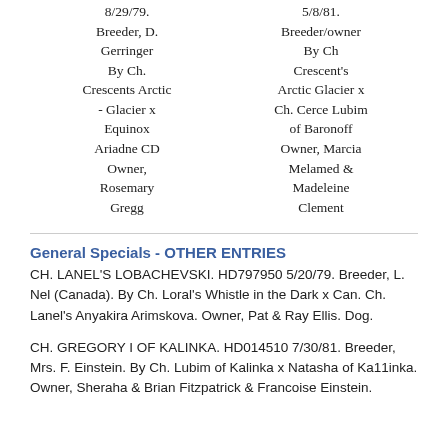8/29/79. Breeder, D. Gerringer By Ch. Crescents Arctic - Glacier x Equinox Ariadne CD Owner, Rosemary Gregg | 5/8/81. Breeder/owner By Ch Crescent's Arctic Glacier x Ch. Cerce Lubim of Baronoff Owner, Marcia Melamed & Madeleine Clement
General Specials - OTHER ENTRIES
CH. LANEL'S LOBACHEVSKI. HD797950 5/20/79. Breeder, L. Nel (Canada). By Ch. Loral's Whistle in the Dark x Can. Ch. Lanel's Anyakira Arimskova. Owner, Pat & Ray Ellis. Dog.
CH. GREGORY I OF KALINKA. HD014510 7/30/81. Breeder, Mrs. F. Einstein. By Ch. Lubim of Kalinka x Natasha of Ka11inka. Owner, Sheraha & Brian Fitzpatrick & Francoise Einstein.